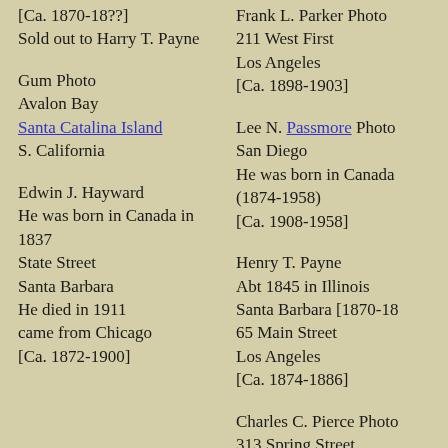[Ca. 1870-18??]
Sold out to Harry T. Payne
Gum Photo
Avalon Bay
Santa Catalina Island
S. California
Edwin J. Hayward
He was born in Canada in 1837
State Street
Santa Barbara
He died in 1911
came from Chicago
[Ca. 1872-1900]
Frank L. Parker Photo
211 West First
Los Angeles
[Ca. 1898-1903]
Lee N. Passmore Photo
San Diego
He was born in Canada
(1874-1958)
[Ca. 1908-1958]
Henry T. Payne
Abt 1845 in Illinois
Santa Barbara [1870-18
65 Main Street
Los Angeles
[Ca. 1874-1886]
Charles C. Pierce Photo
313 Spring Street
Los Angeles
(1861-1946)
Came to S. California in
[Ca. 1886-1905]
James T. Pollock...